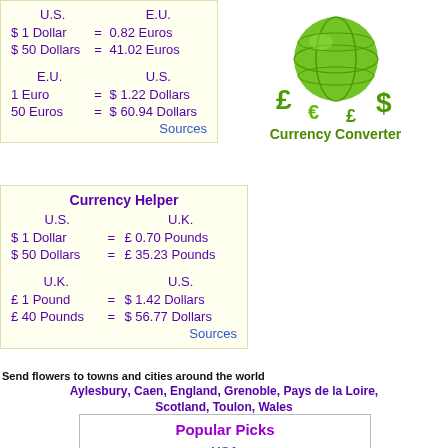| U.S. |  | E.U. |
| --- | --- | --- |
| $ 1 Dollar | = | 0.82 Euros |
| $ 50 Dollars | = | 41.02 Euros |
|  |  |  |
| E.U. |  | U.S. |
| 1 Euro | = | $ 1.22 Dollars |
| 50 Euros | = | $ 60.94 Dollars |
|  |  | Sources |
[Figure (illustration): Green globe with currency symbols (dollar, pound, euro) around it, labeled Currency Converter in green text]
| Currency Helper |  |  |
| --- | --- | --- |
| U.S. |  | U.K. |
| $ 1 Dollar | = | £ 0.70 Pounds |
| $ 50 Dollars | = | £ 35.23 Pounds |
|  |  |  |
| U.K. |  | U.S. |
| £ 1 Pound | = | $ 1.42 Dollars |
| £ 40 Pounds | = | $ 56.77 Dollars |
|  |  | Sources |
Send flowers to towns and cities around the world
Aylesbury, Caen, England, Grenoble, Pays de la Loire, Scotland, Toulon, Wales
Popular Picks
USA